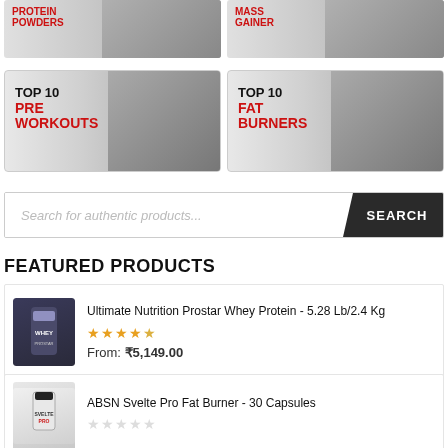[Figure (infographic): Banner for Protein Powders category — muscular person with red bold text]
[Figure (infographic): Banner for Mass Gainer category — muscular person with red bold text]
[Figure (infographic): Top 10 Pre Workouts banner — person holding head, gray background]
[Figure (infographic): Top 10 Fat Burners banner — person measuring waist, gray background]
Search for authentic products...
FEATURED PRODUCTS
Ultimate Nutrition Prostar Whey Protein - 5.28 Lb/2.4 Kg — 4.5 stars — From: ₹5,149.00
ABSN Svelte Pro Fat Burner - 30 Capsules — 0 stars